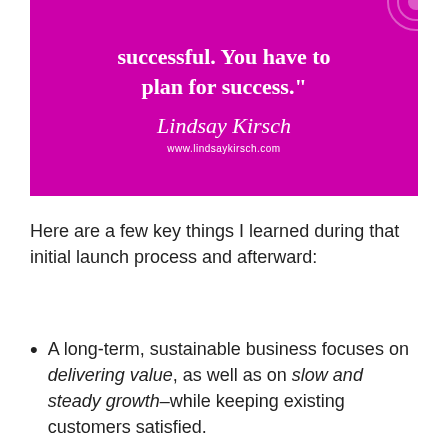[Figure (illustration): Magenta/purple branded quote graphic with white text reading 'successful. You have to plan for success.' with a cursive signature 'Lindsay Kirsch' and url 'www.lindsaykirsch.com' and a circular geometric decoration in the top right corner.]
Here are a few key things I learned during that initial launch process and afterward:
A long-term, sustainable business focuses on delivering value, as well as on slow and steady growth–while keeping existing customers satisfied.